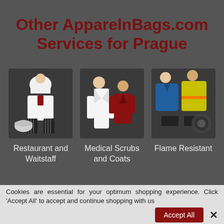Other ApparelnBags.com Services for Prague
[Figure (photo): Restaurant and Waitstaff uniforms: chef outfit, dress shirt, striped pants, chef hat]
Restaurant and Waitstaff
[Figure (photo): Medical Scrubs and Coats: white coat and red scrub top]
Medical Scrubs and Coats
[Figure (photo): Flame Resistant workwear: blue polo, yellow safety vest, black accessories]
Flame Resistant
Cookies are essential for your optimum shopping experience. Click 'Accept All' to accept and continue shopping with us